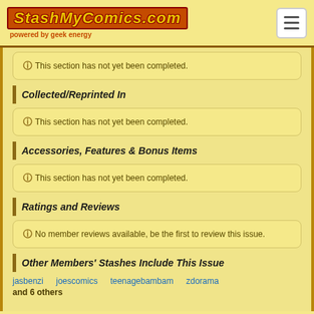StashMyComics.com powered by geek energy
This section has not yet been completed.
Collected/Reprinted In
This section has not yet been completed.
Accessories, Features & Bonus Items
This section has not yet been completed.
Ratings and Reviews
No member reviews available, be the first to review this issue.
Other Members' Stashes Include This Issue
jasbenzi   joescomics   teenagebambam   zdorama
and 6 others